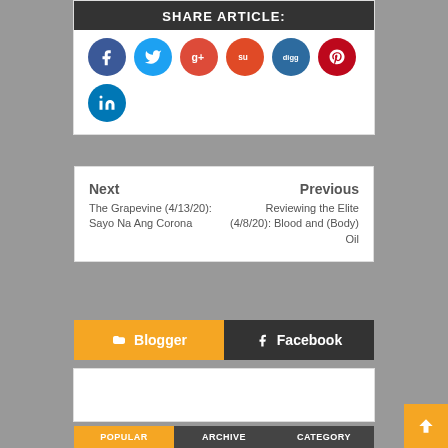SHARE ARTICLE:
[Figure (infographic): Social sharing icons: Facebook (blue), Twitter (light blue), Google+ (red), StumbleUpon (orange-red), Digg (dark blue), Pinterest (dark red), LinkedIn (blue)]
Next
The Grapevine (4/13/20): Sayo Na Ang Corona
Previous
Reviewing the Elite (4/8/20): Blood and (Body) Oil
Blogger
Facebook
POPULAR | ARCHIVE | CATEGORY